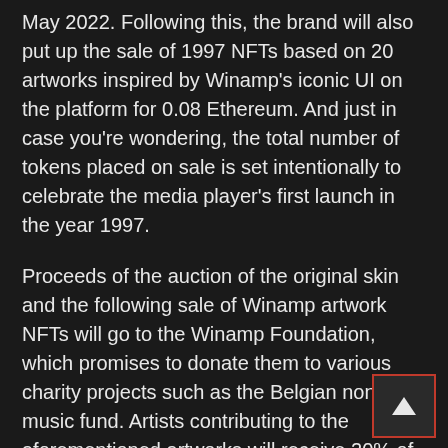May 2022. Following this, the brand will also put up the sale of 1997 NFTs based on 20 artworks inspired by Winamp's iconic UI on the platform for 0.08 Ethereum. And just in case you're wondering, the total number of tokens placed on sale is set intentionally to celebrate the media player's first launch in the year 1997.
Proceeds of the auction of the original skin and the following sale of Winamp artwork NFTs will go to the Winamp Foundation, which promises to donate them to various charity projects such as the Belgian nonprofit music fund. Artists contributing to the aforementioned artworks will receive 20% of the proceeds from each sale, and will also geet 10% of any royalties on later sales,